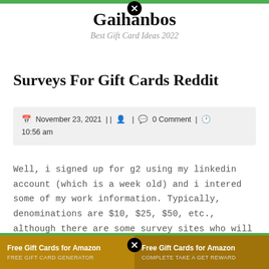Gaihanbos
Best Gift Card Ideas 2022
Surveys For Gift Cards Reddit
November 23, 2021 | | 🧑 | 💬 0 Comment | 🕐 10:56 am
Well, i signed up for g2 using my linkedin account (which is a week old) and i intered some of my work information. Typically, denominations are $10, $25, $50, etc., although there are some survey sites who will allow you to request cards as low as $5, and occasionally, even $1!
[Figure (screenshot): Two gold/brown advertisement banners side by side at the bottom reading 'Free Gift Cards for Amazon']